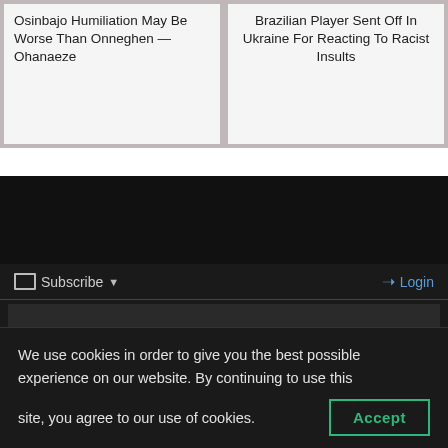Osinbajo Humiliation May Be Worse Than Onneghen — Ohanaeze
Brazilian Player Sent Off In Ukraine For Reacting To Racist Insults
[Figure (screenshot): Dark comment editor panel with Subscribe and Login buttons, text editor toolbar with buttons: B, I, LINK, B-QUOTE, U, UL, OL, D, CODE, SPOILER]
We use cookies in order to give you the best possible experience on our website. By continuing to use this site, you agree to our use of cookies.
Accept